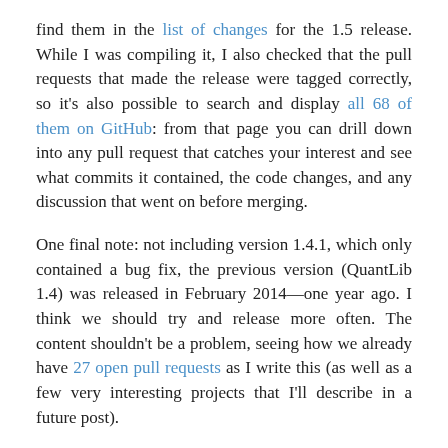find them in the list of changes for the 1.5 release. While I was compiling it, I also checked that the pull requests that made the release were tagged correctly, so it's also possible to search and display all 68 of them on GitHub: from that page you can drill down into any pull request that catches your interest and see what commits it contained, the code changes, and any discussion that went on before merging.
One final note: not including version 1.4.1, which only contained a bug fix, the previous version (QuantLib 1.4) was released in February 2014—one year ago. I think we should try and release more often. The content shouldn't be a problem, seeing how we already have 27 open pull requests as I write this (as well as a few very interesting projects that I'll describe in a future post).
I'll stop here for now. Thanks again to all those who contributed to the 1.5 release!